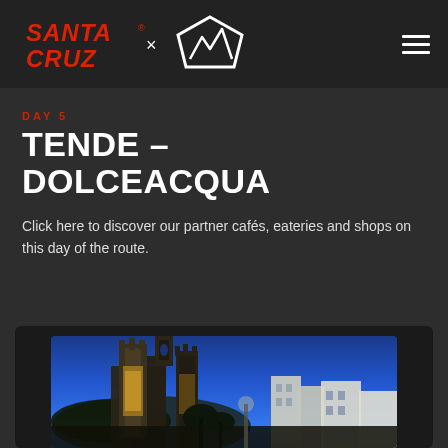Santa Cruz x [logo] — navigation header with hamburger menu
DAY 5
TENDE – DOLCEACQUA
Click here to discover our partner cafés, eateries and shops on this day of the route.
[Figure (photo): Twilight photo of Dolceacqua town with illuminated church/castle tower and multi-story buildings against a deep blue evening sky]